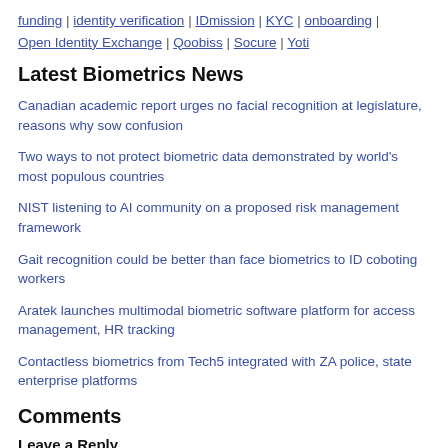funding | identity verification | IDmission | KYC | onboarding | Open Identity Exchange | Qoobiss | Socure | Yoti
Latest Biometrics News
Canadian academic report urges no facial recognition at legislature, reasons why sow confusion
Two ways to not protect biometric data demonstrated by world's most populous countries
NIST listening to AI community on a proposed risk management framework
Gait recognition could be better than face biometrics to ID coboting workers
Aratek launches multimodal biometric software platform for access management, HR tracking
Contactless biometrics from Tech5 integrated with ZA police, state enterprise platforms
Comments
Leave a Reply